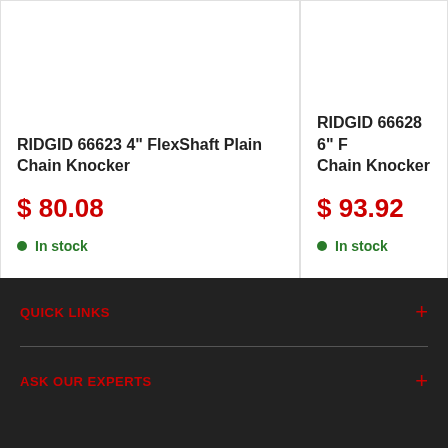RIDGID 66623 4" FlexShaft Plain Chain Knocker
$ 80.08
In stock
RIDGID 66628 6" F... Chain Knocker
$ 93.92
In stock
QUICK LINKS
ASK OUR EXPERTS